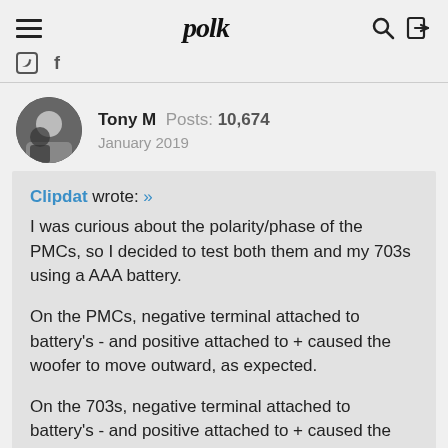polk
Tony M  Posts: 10,674  January 2019
Clipdat wrote: »
I was curious about the polarity/phase of the PMCs, so I decided to test both them and my 703s using a AAA battery.

On the PMCs, negative terminal attached to battery's - and positive attached to + caused the woofer to move outward, as expected.

On the 703s, negative terminal attached to battery's - and positive attached to + caused the